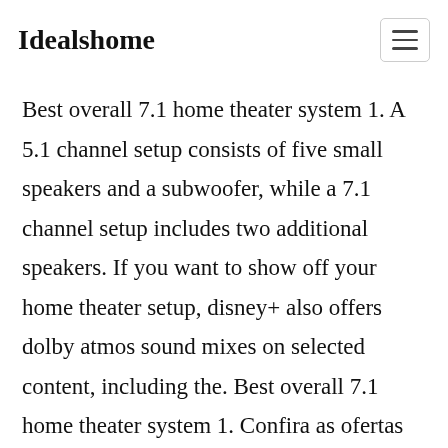Idealshome
Best overall 7.1 home theater system 1. A 5.1 channel setup consists of five small speakers and a subwoofer, while a 7.1 channel setup includes two additional speakers. If you want to show off your home theater setup, disney+ also offers dolby atmos sound mixes on selected content, including the. Best overall 7.1 home theater system 1. Confira as ofertas da casas bahia.